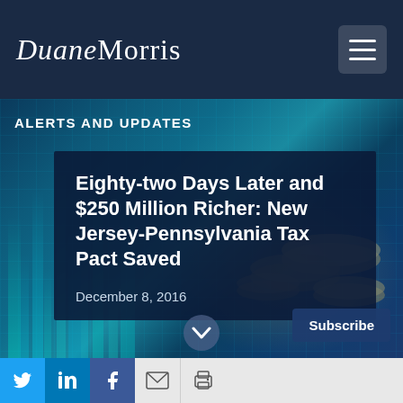Duane Morris
ALERTS AND UPDATES
Eighty-two Days Later and $250 Million Richer: New Jersey-Pennsylvania Tax Pact Saved
December 8, 2016